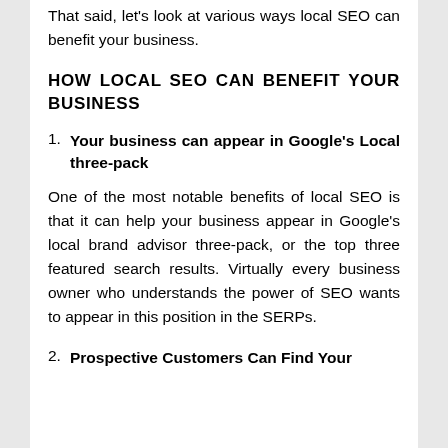That said, let's look at various ways local SEO can benefit your business.
HOW LOCAL SEO CAN BENEFIT YOUR BUSINESS
1. Your business can appear in Google's Local three-pack
One of the most notable benefits of local SEO is that it can help your business appear in Google's local brand advisor three-pack, or the top three featured search results. Virtually every business owner who understands the power of SEO wants to appear in this position in the SERPs.
2. Prospective Customers Can Find Your